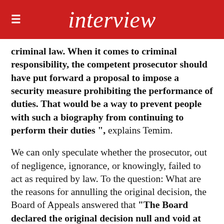interview
criminal law. When it comes to criminal responsibility, the competent prosecutor should have put forward a proposal to impose a security measure prohibiting the performance of duties. That would be a way to prevent people with such a biography from continuing to perform their duties ", explains Temim.
We can only speculate whether the prosecutor, out of negligence, ignorance, or knowingly, failed to act as required by law. To the question: What are the reasons for annulling the original decision, the Board of Appeals answered that "The Board declared the original decision null and void at the request the provisions of the